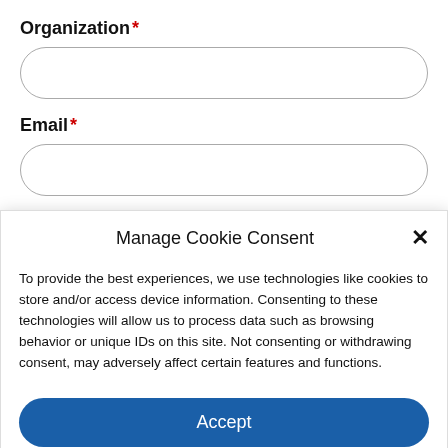Organization *
Email *
Select your interest *
Manage Cookie Consent
To provide the best experiences, we use technologies like cookies to store and/or access device information. Consenting to these technologies will allow us to process data such as browsing behavior or unique IDs on this site. Not consenting or withdrawing consent, may adversely affect certain features and functions.
Accept